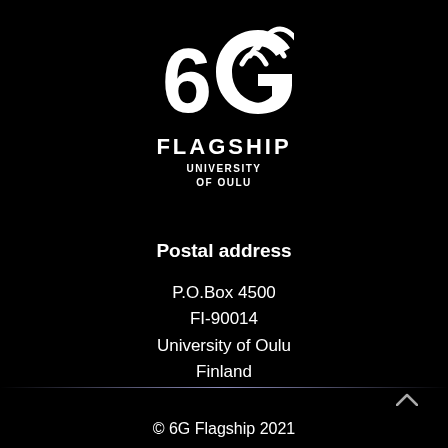[Figure (logo): 6G Flagship logo — large white '6G' with wireless signal arcs above the G, below it 'FLAGSHIP' in bold white capitals, then 'UNIVERSITY OF OULU' in smaller bold white capitals. All on a black background.]
Postal address
P.O.Box 4500
FI-90014
University of Oulu
Finland
© 6G Flagship 2021